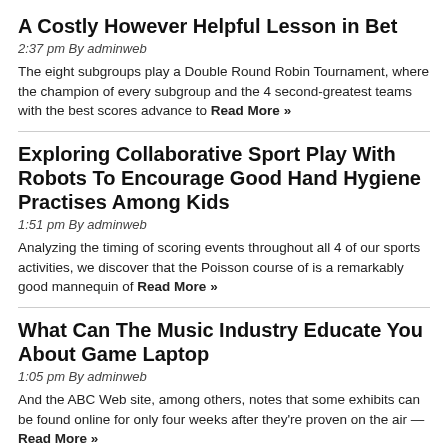A Costly However Helpful Lesson in Bet
2:37 pm By adminweb
The eight subgroups play a Double Round Robin Tournament, where the champion of every subgroup and the 4 second-greatest teams with the best scores advance to Read More »
Exploring Collaborative Sport Play With Robots To Encourage Good Hand Hygiene Practises Among Kids
1:51 pm By adminweb
Analyzing the timing of scoring events throughout all 4 of our sports activities, we discover that the Poisson course of is a remarkably good mannequin of Read More »
What Can The Music Industry Educate You About Game Laptop
1:05 pm By adminweb
And the ABC Web site, among others, notes that some exhibits can be found online for only four weeks after they're proven on the air — Read More »
What's So Particular About Route 66?